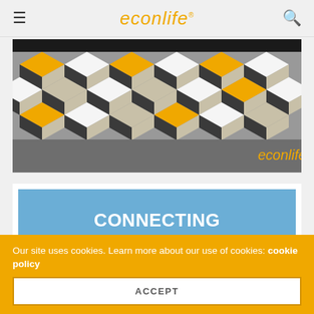econlife
[Figure (illustration): Geometric cube pattern in black, white, yellow/gold and grey, with 'econlife' logo in orange at bottom right, on a grey background]
CONNECTING ECONOMICS WITH EVERYDAY LIFE.
Sign up for your daily slice of
Our site uses cookies. Learn more about our use of cookies: cookie policy
ACCEPT